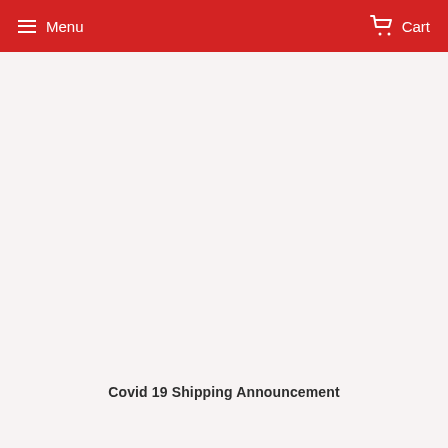Menu   Cart
Covid 19 Shipping Announcement